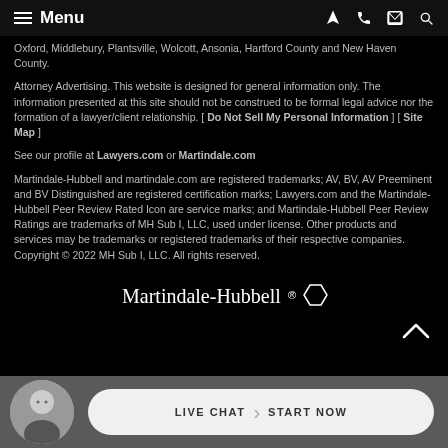Menu
Oxford, Middlebury, Plantsville, Wolcott, Ansonia, Hartford County and New Haven County.
Attorney Advertising. This website is designed for general information only. The information presented at this site should not be construed to be formal legal advice nor the formation of a lawyer/client relationship. [ Do Not Sell My Personal Information ] [ Site Map ]
See our profile at Lawyers.com or Martindale.com
Martindale-Hubbell and martindale.com are registered trademarks; AV, BV, AV Preeminent and BV Distinguished are registered certification marks; Lawyers.com and the Martindale-Hubbell Peer Review Rated Icon are service marks; and Martindale-Hubbell Peer Review Ratings are trademarks of MH Sub I, LLC, used under license. Other products and services may be trademarks or registered trademarks of their respective companies. Copyright © 2022 MH Sub I, LLC. All rights reserved.
[Figure (logo): Martindale-Hubbell logo with hexagon icon]
LIVE CHAT  START NOW